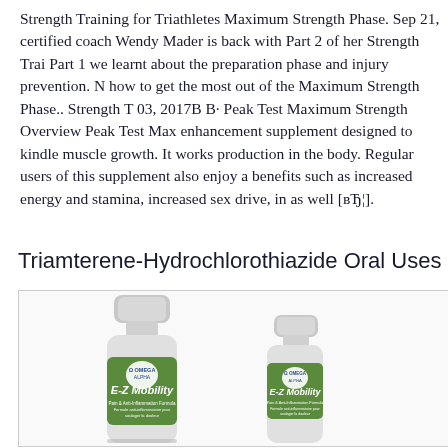Strength Training for Triathletes Maximum Strength Phase. Sep 21, certified coach Wendy Mader is back with Part 2 of her Strength Tra... Part 1 we learnt about the preparation phase and injury prevention. N how to get the most out of the Maximum Strength Phase.. Strength T 03, 2017B B· Peak Test Maximum Strength Overview Peak Test Ma enhancement supplement designed to kindle muscle growth. It works production in the body. Regular users of this supplement also enjoy benefits such as increased energy and stamina, increased sex drive, i as well [вЂ¦].
Triamterene-Hydrochlorothiazide Oral Uses Side Effec
[Figure (photo): Two bottles of E-Z Mobility Pain & Anti-Inflammation Formula by Omega Alpha, one larger and one smaller, both with green labels, shown against a white background inside a bordered box.]